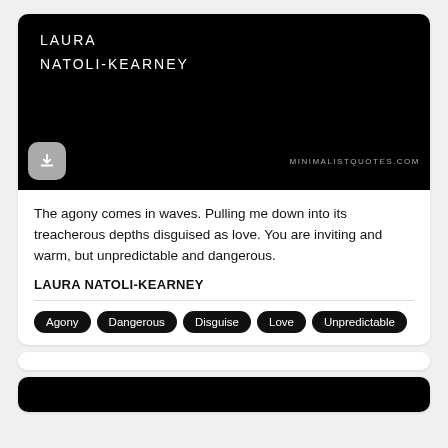[Figure (illustration): Black background card image with author name 'LAURA NATOLI-KEARNEY' in white light-weight uppercase letters, a gray download button with down-arrow icon at bottom left, and 'MINIMALISTQUOTES.COM' watermark in gray at bottom right.]
The agony comes in waves. Pulling me down into its treacherous depths disguised as love. You are inviting and warm, but unpredictable and dangerous.
LAURA NATOLI-KEARNEY
Agony
Dangerous
Disguise
Love
Unpredictable